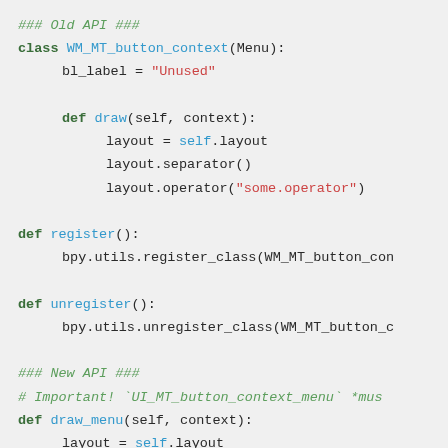### Old API ###
class WM_MT_button_context(Menu):
    bl_label = "Unused"

    def draw(self, context):
        layout = self.layout
        layout.separator()
        layout.operator("some.operator")

def register():
    bpy.utils.register_class(WM_MT_button_con

def unregister():
    bpy.utils.unregister_class(WM_MT_button_c

### New API ###
# Important! `UI_MT_button_context_menu` *mus
def draw_menu(self, context):
    layout = self.layout
    layout.separator()
    layout.operator("some.operator")